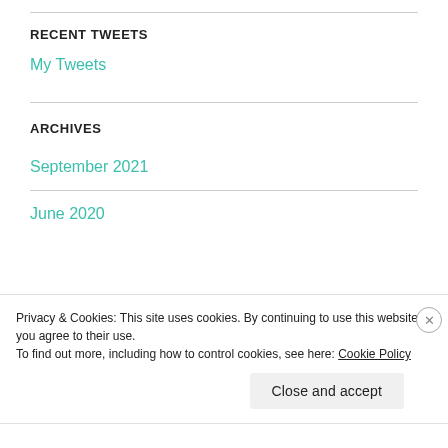RECENT TWEETS
My Tweets
ARCHIVES
September 2021
June 2020
Privacy & Cookies: This site uses cookies. By continuing to use this website, you agree to their use.
To find out more, including how to control cookies, see here: Cookie Policy
Close and accept